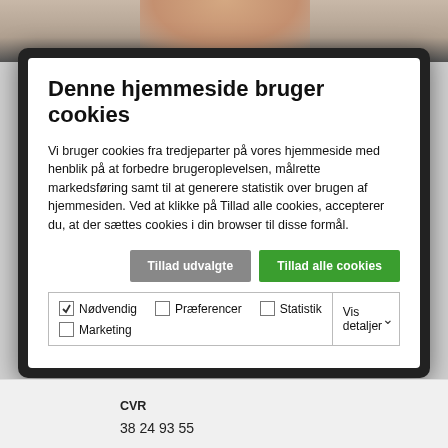[Figure (screenshot): Top of page showing partial photo of a person with dark background overlay and cookie consent modal dialog]
Denne hjemmeside bruger cookies
Vi bruger cookies fra tredjeparter på vores hjemmeside med henblik på at forbedre brugeroplevelsen, målrette markedsføring samt til at generere statistik over brugen af hjemmesiden. Ved at klikke på Tillad alle cookies, accepterer du, at der sættes cookies i din browser til disse formål.
Tillad udvalgte | Tillad alle cookies
☑ Nødvendig  ☐ Præferencer  ☐ Statistik  ☐ Marketing  Vis detaljer
CVR
38 24 93 55